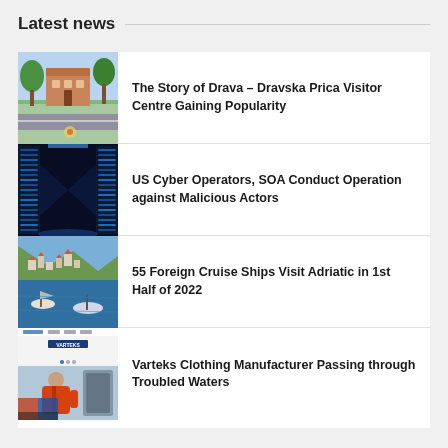Latest news
The Story of Drava – Dravska Prica Visitor Centre Gaining Popularity
US Cyber Operators, SOA Conduct Operation against Malicious Actors
55 Foreign Cruise Ships Visit Adriatic in 1st Half of 2022
Varteks Clothing Manufacturer Passing through Troubled Waters